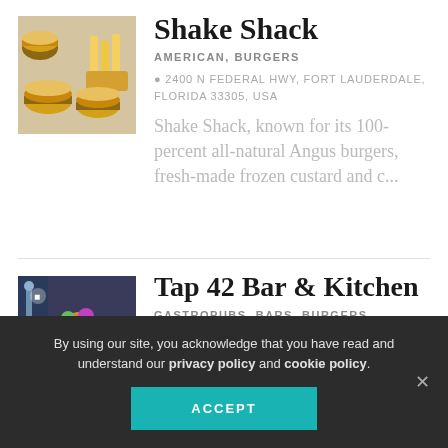[Figure (photo): Photo of burgers and fries from Shake Shack]
Shake Shack
AMERICAN, BURGERS
2400 N FEDERAL HWY, FORT LAUDERDALE, FLORIDA 33305, USA
Shake Shack, known for its 100-percent all-natural Angus burgers, fresh-made frozen custard and c...
[Figure (photo): Photo of colorful food arrangement at Tap 42 Bar & Kitchen]
Tap 42 Bar & Kitchen
GASTROPUBS, BARS, BURGERS
By using our site, you acknowledge that you have read and understand our privacy policy and cookie policy.
ACCEPT